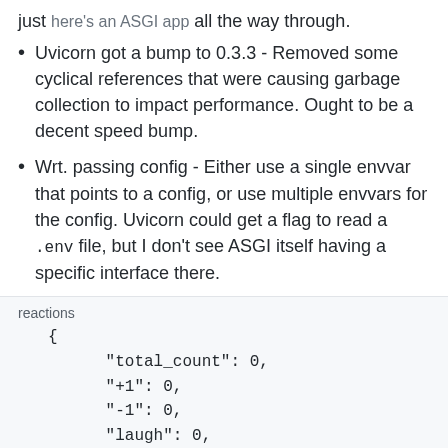just here's an ASGI app all the way through.
Uvicorn got a bump to 0.3.3 - Removed some cyclical references that were causing garbage collection to impact performance. Ought to be a decent speed bump.
Wrt. passing config - Either use a single envvar that points to a config, or use multiple envvars for the config. Uvicorn could get a flag to read a .env file, but I don't see ASGI itself having a specific interface there.
reactions
{
    "total_count": 0,
    "+1": 0,
    "-1": 0,
    "laugh": 0,
    "hooray": 0,
    "confused": 0,
    "heart": 0,